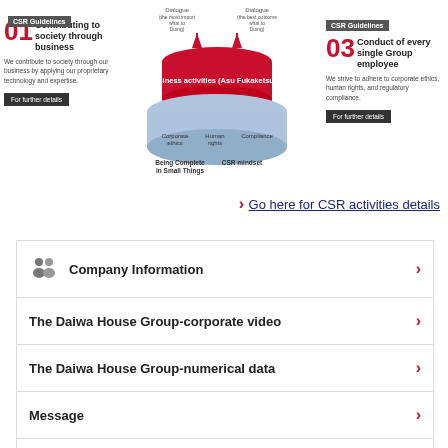[Figure (infographic): CSR Guidelines diagram showing business activities structure with dialogue arrows at top, red cylinder labeled Business activities (Asu Fukaketsuno), blue platform with Corporate ethics, Human rights, Compliance pillars, and base showing Being Complete in Small Things and CSR mindset.]
01 Contributing to society through business
We contribute to society through our business by applying our proprietary technology and expertise.
03 Conduct of every single Group employee
We strive to adhere to corporate ethics, human rights, and regulatory compliance.
Go here for CSR activities details
Company Information
The Daiwa House Group-corporate video
The Daiwa House Group-numerical data
Message
Group Companies